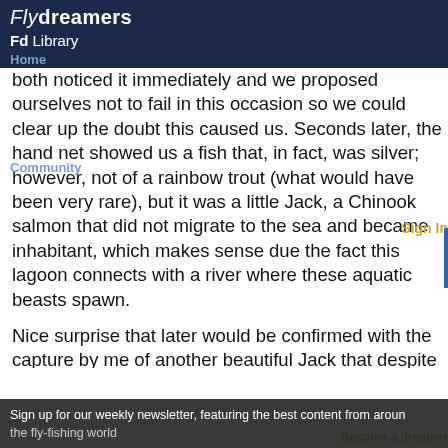Flydreamers Fd Library Home Community
both noticed it immediately and we proposed ourselves not to fail in this occasion so we could clear up the doubt this caused us. Seconds later, the hand net showed us a fish that, in fact, was silver; however, not of a rainbow trout (what would have been very rare), but it was a little Jack, a Chinook salmon that did not migrate to the sea and became inhabitant, which makes sense due the fact this lagoon connects with a river where these aquatic beasts spawn.
Nice surprise that later would be confirmed with the capture by me of another beautiful Jack that despite of its small size gave a memorable fight.
The day was already perfect, with many catches of brown trout averaging 2 kilos each one, nice fights, and the pleasant surprise of knowing that in those waters we could look for beautiful wild salmon, the day still had another surprise waiting for us.
Sign up for our weekly newsletter, featuring the best content from around the fly-fishing world